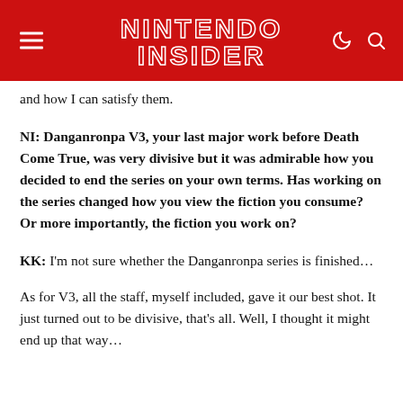NINTENDO INSIDER
and how I can satisfy them.
NI: Danganronpa V3, your last major work before Death Come True, was very divisive but it was admirable how you decided to end the series on your own terms. Has working on the series changed how you view the fiction you consume? Or more importantly, the fiction you work on?
KK: I'm not sure whether the Danganronpa series is finished…
As for V3, all the staff, myself included, gave it our best shot. It just turned out to be divisive, that's all. Well, I thought it might end up that way…